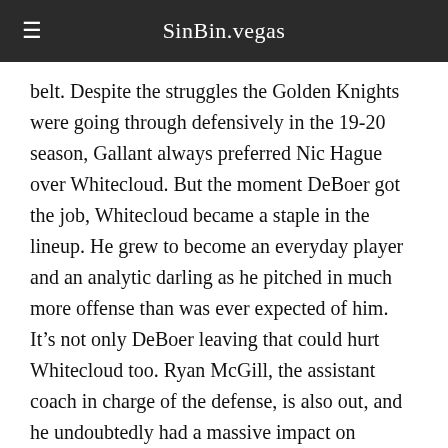SinBin.vegas
belt. Despite the struggles the Golden Knights were going through defensively in the 19-20 season, Gallant always preferred Nic Hague over Whitecloud. But the moment DeBoer got the job, Whitecloud became a staple in the lineup. He grew to become an everyday player and an analytic darling as he pitched in much more offense than was ever expected of him. It’s not only DeBoer leaving that could hurt Whitecloud too. Ryan McGill, the assistant coach in charge of the defense, is also out, and he undoubtedly had a massive impact on Whitecloud’s development. All signs point to Whitecloud still being an everyday player for the Golden Knights, but there’s a chance he’s not the perfect fit for the new roster, likely because in the